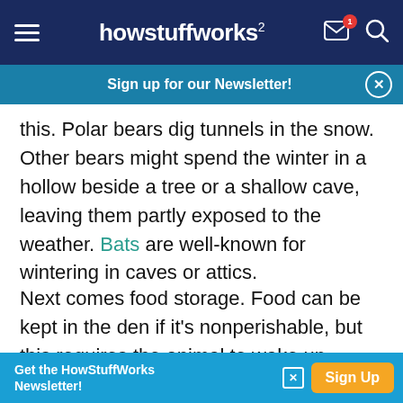howstuffworks
Sign up for our Newsletter!
this. Polar bears dig tunnels in the snow. Other bears might spend the winter in a hollow beside a tree or a shallow cave, leaving them partly exposed to the weather. Bats are well-known for wintering in caves or attics.
Next comes food storage. Food can be kept in the den if it's nonperishable, but this requires the animal to wake up briefly during the winter to eat. Another option is to eat a large amount of food starting in
Get the HowStuffWorks Newsletter!